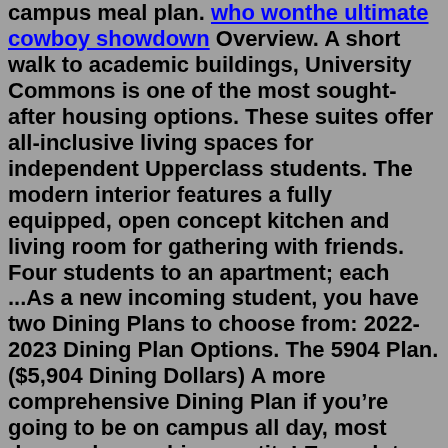campus meal plan. who wonthe ultimate cowboy showdown Overview. A short walk to academic buildings, University Commons is one of the most sought-after housing options. These suites offer all-inclusive living spaces for independent Upperclass students. The modern interior features a fully equipped, open concept kitchen and living room for gathering with friends. Four students to an apartment; each ...As a new incoming student, you have two Dining Plans to choose from: 2022-2023 Dining Plan Options. The 5904 Plan. ($5,904 Dining Dollars) A more comprehensive Dining Plan if you’re going to be on campus all day, most days or have a big appetite! Enough to cover 3 meals a day, 5 days a week. The 3936 Plan. ($3,936 Dining Dollars) Expenses incurred between January 1, 2022 and June 30, 2022: 18 cents per mile. Expenses incurred between July 1, 2022 and December 31, 2022: 22 cents per mile. Travel Meals. Reimbursement Cap*. For UC business travel within the continental U.S. Travel Meals incurred on or after October 15, 2017: Actual